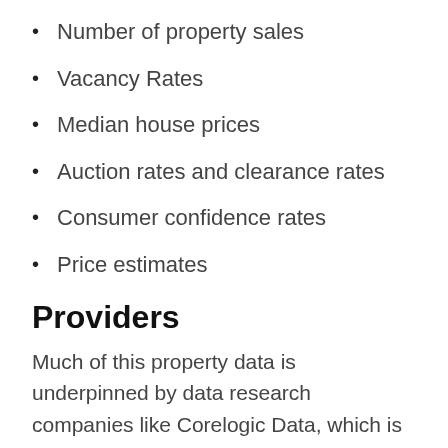Number of property sales
Vacancy Rates
Median house prices
Auction rates and clearance rates
Consumer confidence rates
Price estimates
Providers
Much of this property data is underpinned by data research companies like Corelogic Data, which is one of the largest provider of property information, analytics and property-related risk management services in Australia. Other sources for access